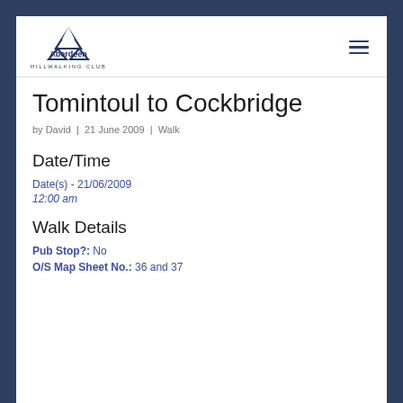[Figure (logo): Aberdeen Hillwalking Club logo with mountain peak icon]
Tomintoul to Cockbridge
by David | 21 June 2009 | Walk
Date/Time
Date(s) - 21/06/2009
12:00 am
Walk Details
Pub Stop?: No
O/S Map Sheet No.: 36 and 37